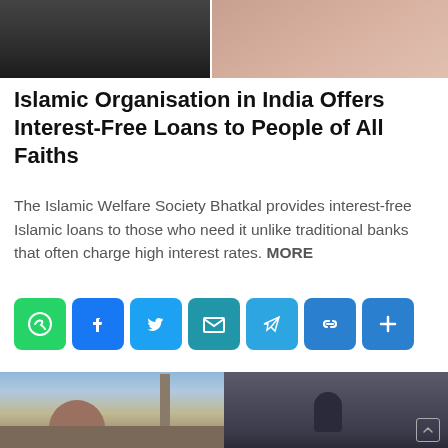[Figure (photo): Two photos at the top: left shows dark objects (toys/cars), right shows a hand with red nail polish]
Islamic Organisation in India Offers Interest-Free Loans to People of All Faiths
The Islamic Welfare Society Bhatkal provides interest-free Islamic loans to those who need it unlike traditional banks that often charge high interest rates. MORE
[Figure (infographic): Row of social sharing buttons: WhatsApp (green), Facebook (blue), Twitter (light blue), Email (teal), Telegram (light blue), Link (blue), More/Plus (blue)]
[Figure (photo): Two photos at the bottom: left shows a mosque with dome and minaret under blue sky, right shows a person hunched over in snow]